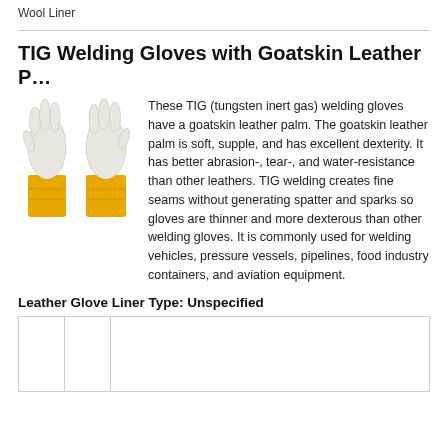Wool Liner
TIG Welding Gloves with Goatskin Leather P…
[Figure (illustration): Illustration of two TIG welding gloves with white goatskin leather upper and yellow/orange cuffs]
These TIG (tungsten inert gas) welding gloves have a goatskin leather palm. The goatskin leather palm is soft, supple, and has excellent dexterity. It has better abrasion-, tear-, and water-resistance than other leathers. TIG welding creates fine seams without generating spatter and sparks so gloves are thinner and more dexterous than other welding gloves. It is commonly used for welding vehicles, pressure vessels, pipelines, food industry containers, and aviation equipment.
Leather Glove Liner Type: Unspecified
|  |  |  |
| --- | --- | --- |
|  |  |  |